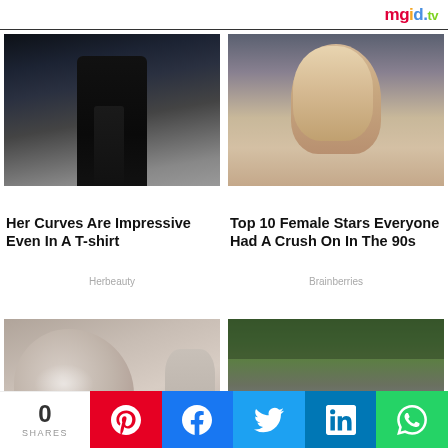mgid tv
[Figure (photo): Woman in black crop top posing outdoors at night near a building]
Her Curves Are Impressive Even In A T-shirt
Herbeauty
[Figure (photo): Blonde female celebrity with serious expression, branches in background]
Top 10 Female Stars Everyone Had A Crush On In The 90s
Brainberries
[Figure (photo): Close-up of skin showing raised bumps/texture]
This Is What Causes That Classic Moodiness
[Figure (photo): Aerial view of cliffside walkway with lush green trees and misty mountains]
The Most Influential Countries In The History
0 SHARES